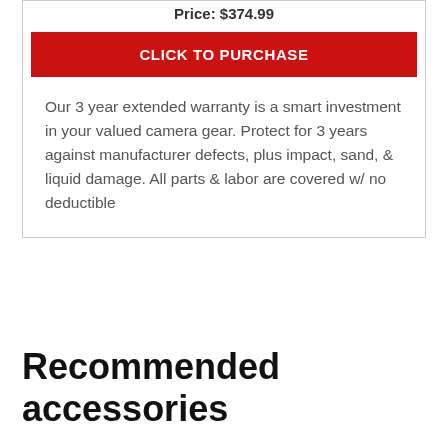Price: $374.99
CLICK TO PURCHASE
Our 3 year extended warranty is a smart investment in your valued camera gear. Protect for 3 years against manufacturer defects, plus impact, sand, & liquid damage. All parts & labor are covered w/ no deductible
Recommended accessories